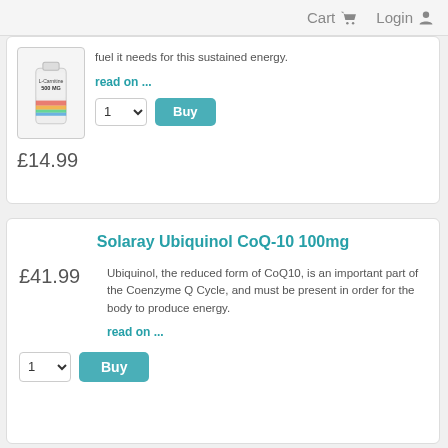Cart  Login
[Figure (photo): L-Carnitine 500 MG supplement bottle with rainbow label]
fuel it needs for this sustained energy.
read on ...
£14.99
Solaray Ubiquinol CoQ-10 100mg
£41.99
Ubiquinol, the reduced form of CoQ10, is an important part of the Coenzyme Q Cycle, and must be present in order for the body to produce energy.
read on ...